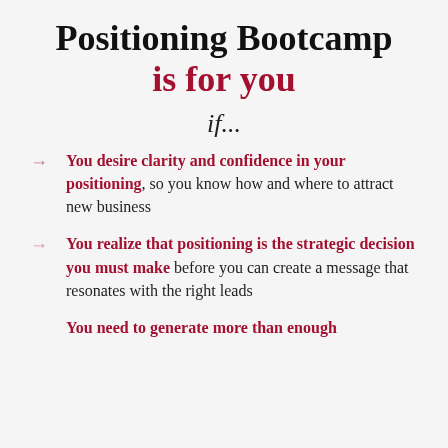Positioning Bootcamp is for you
if...
You desire clarity and confidence in your positioning, so you know how and where to attract new business
You realize that positioning is the strategic decision you must make before you can create a message that resonates with the right leads
You need to generate more than enough